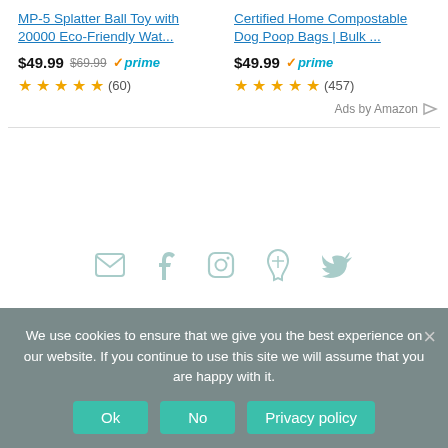MP-5 Splatter Ball Toy with 20000 Eco-Friendly Wat...
$49.99  $69.99  prime   ★★★★½  (60)
Certified Home Compostable Dog Poop Bags | Bulk ...
$49.99  prime   ★★★★½  (457)
Ads by Amazon
[Figure (infographic): Social media icons: mail, facebook, instagram, pinterest, twitter in muted teal color]
We use cookies to ensure that we give you the best experience on our website. If you continue to use this site we will assume that you are happy with it.
Ok  No  Privacy policy